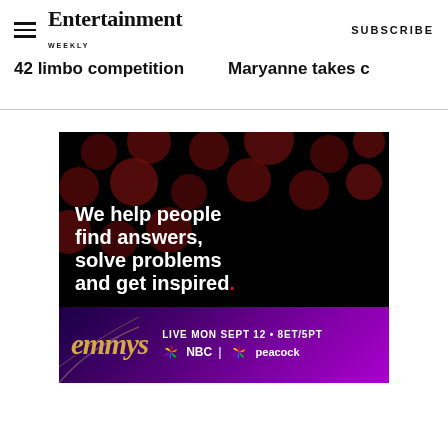Entertainment Weekly — SUBSCRIBE
42 limbo competition
Maryanne takes c
[Figure (other): Advertisement: black background with dark red bokeh dots pattern. White bold text reads: 'We help people find answers, solve problems and get inspired.' with a red period at the end.]
[Figure (other): Emmy Awards advertisement on purple gradient background. Gold italic text 'emmys'. White text: 'LIVE MON SEPT 12 • 8ET/5PT' with NBC and Peacock logos.]